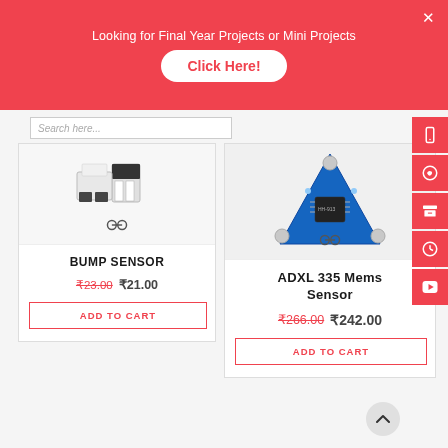Looking for Final Year Projects or Mini Projects — Click Here!
[Figure (photo): Bump sensor product image showing white/black relay-like component]
BUMP SENSOR
₹23.00 ₹21.00
ADD TO CART
[Figure (photo): ADXL 335 MEMS accelerometer sensor on blue PCB board]
ADXL 335 Mems Sensor
₹266.00 ₹242.00
ADD TO CART